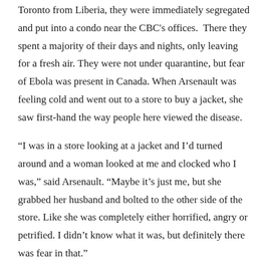Toronto from Liberia, they were immediately segregated and put into a condo near the CBC's offices. There they spent a majority of their days and nights, only leaving for a fresh air. They were not under quarantine, but fear of Ebola was present in Canada. When Arsenault was feeling cold and went out to a store to buy a jacket, she saw first-hand the way people here viewed the disease.
“I was in a store looking at a jacket and I’d turned around and a woman looked at me and clocked who I was,” said Arsenault. “Maybe it’s just me, but she grabbed her husband and bolted to the other side of the store. Like she was completely either horrified, angry or petrified. I didn’t know what it was, but definitely there was fear in that.”